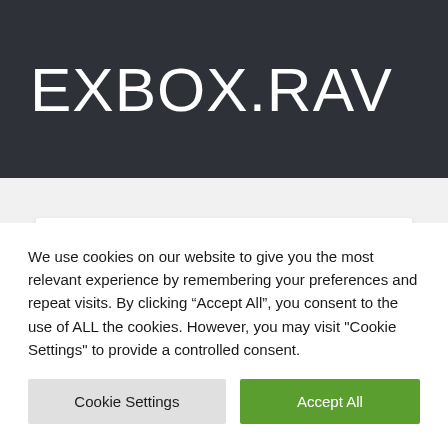EXBOX.RAV
Operating Instructions
Operating instructions for EXBOX.RAV.
We use cookies on our website to give you the most relevant experience by remembering your preferences and repeat visits. By clicking “Accept All”, you consent to the use of ALL the cookies. However, you may visit "Cookie Settings" to provide a controlled consent.